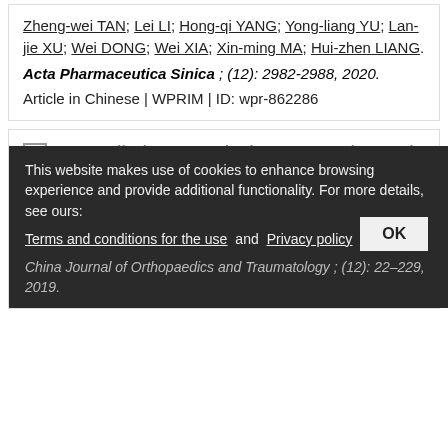Zheng-wei TAN; Lei LI; Hong-qi YANG; Yong-liang YU; Lan-jie XU; Wei DONG; Wei XIA; Xin-ming MA; Hui-zhen LIANG.
Acta Pharmaceutica Sinica ; (12): 2982-2988, 2020.
Article in Chinese | WPRIM | ID: wpr-862286
19. Preliminary analysis on X-ray in youth neck type of cervical spondylosis with upper crossed syndrome / 青少年颈型颈椎病合并上交叉综合征的X线初步分析
Ming MA; Shi-Min ZHANG; Yong-Dong ZHANG; Zuo-Yu Li; Guan-Nan WU; Xiu-liang...
China Journal of Orthopaedics and Traumatology ; (12): 22-229, 2019.
This website makes use of cookies to enhance browsing experience and provide additional functionality. For more details, see ours: Terms and conditions for the use and Privacy policy OK